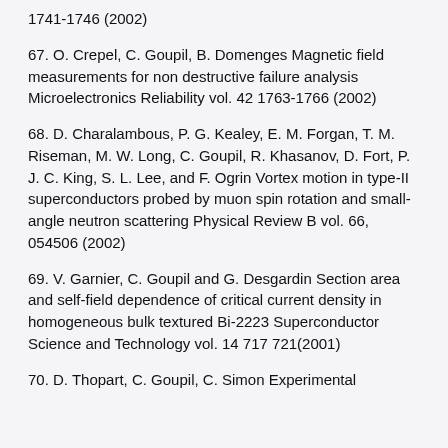1741-1746 (2002)
67. O. Crepel, C. Goupil, B. Domenges Magnetic field measurements for non destructive failure analysis Microelectronics Reliability vol. 42 1763-1766 (2002)
68. D. Charalambous, P. G. Kealey, E. M. Forgan, T. M. Riseman, M. W. Long, C. Goupil, R. Khasanov, D. Fort, P. J. C. King, S. L. Lee, and F. Ogrin Vortex motion in type-II superconductors probed by muon spin rotation and small-angle neutron scattering Physical Review B vol. 66, 054506 (2002)
69. V. Garnier, C. Goupil and G. Desgardin Section area and self-field dependence of critical current density in homogeneous bulk textured Bi-2223 Superconductor Science and Technology vol. 14 717 721(2001)
70. D. Thopart, C. Goupil, C. Simon Experimental